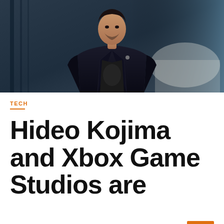[Figure (photo): A man wearing a dark blazer over a graphic t-shirt, standing in a modern interior space with blue-tinted background and a circular white counter structure to the right.]
TECH
Hideo Kojima and Xbox Game Studios are working on a